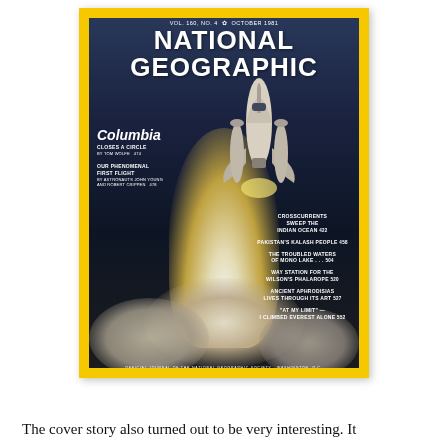[Figure (photo): Cover of National Geographic magazine, Vol. 160, No. 4, October 1981. Features a dramatic photograph of the Space Shuttle Columbia launching with bright rocket plume and billowing clouds of smoke. Yellow border surrounds the cover. Title text reads 'NATIONAL GEOGRAPHIC'. Articles listed include: Columbia Closes a Circle by Tom Wolfe, Our Phenomenal First Flight by Astronauts John Young and Robert Crippen, Crosscurrents Sweep the Indian Ocean, Pakistan's Kalash People, The Troubled Waters of Mono Lake, Way Station for the Wilson's Phalarope, Ancient Aphrodisias Lives Through Its Art, 'At My Limit' – I Climbed Everest Alone.]
The cover story also turned out to be very interesting. It